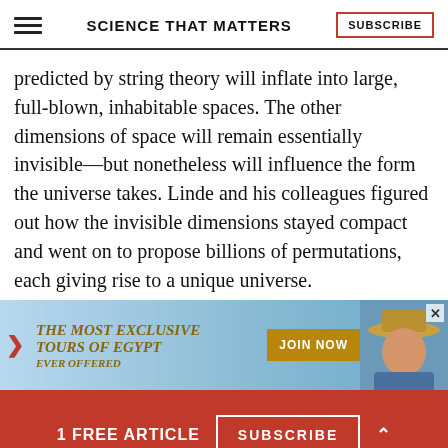SCIENCE THAT MATTERS | SUBSCRIBE
predicted by string theory will inflate into large, full-blown, inhabitable spaces. The other dimensions of space will remain essentially invisible—but nonetheless will influence the form the universe takes. Linde and his colleagues figured out how the invisible dimensions stayed compact and went on to propose billions of permutations, each giving rise to a unique universe.
[Figure (other): Advertisement banner: THE MOST EXCLUSIVE TOURS OF EGYPT EVER OFFERED with JOIN NOW button and photo of older man in hat, against blue sky background]
[Figure (other): Red subscribe bar at bottom: '1 FREE ARTICLE' with SUBSCRIBE button and up caret]